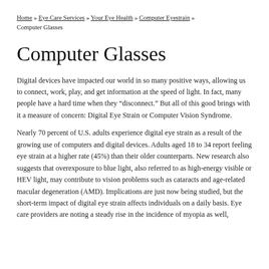Home » Eye Care Services » Your Eye Health » Computer Eyestrain » Computer Glasses
Computer Glasses
Digital devices have impacted our world in so many positive ways, allowing us to connect, work, play, and get information at the speed of light. In fact, many people have a hard time when they “disconnect.” But all of this good brings with it a measure of concern: Digital Eye Strain or Computer Vision Syndrome.
Nearly 70 percent of U.S. adults experience digital eye strain as a result of the growing use of computers and digital devices. Adults aged 18 to 34 report feeling eye strain at a higher rate (45%) than their older counterparts. New research also suggests that overexposure to blue light, also referred to as high-energy visible or HEV light, may contribute to vision problems such as cataracts and age-related macular degeneration (AMD). Implications are just now being studied, but the short-term impact of digital eye strain affects individuals on a daily basis. Eye care providers are noting a steady rise in the incidence of myopia as well,